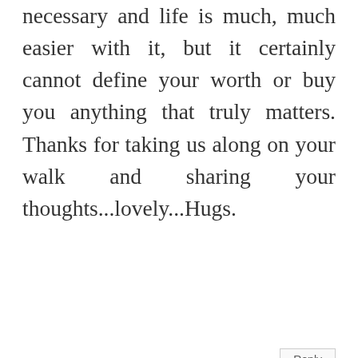necessary and life is much, much easier with it, but it certainly cannot define your worth or buy you anything that truly matters. Thanks for taking us along on your walk and sharing your thoughts...lovely...Hugs.
Reply
Carla
June 3, 2018 at 6:54 AM
Nancy -- such a great post. So glad to hear you are settling into your new home. Yes, it is so nice to be a woman of a certain age. Too bad it takes